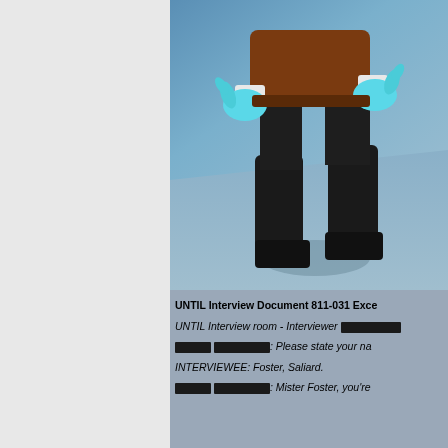[Figure (screenshot): A video game screenshot showing the lower body of a character in dark boots and brown jacket, with blue alien hands, against a blue-toned background.]
UNTIL Interview Document 811-031 Exce...
UNTIL Interview room - Interviewer [REDACTED]
[REDACTED]: Please state your na...
INTERVIEWEE: Foster, Saliard.
[REDACTED]: Mister Foster, you're...